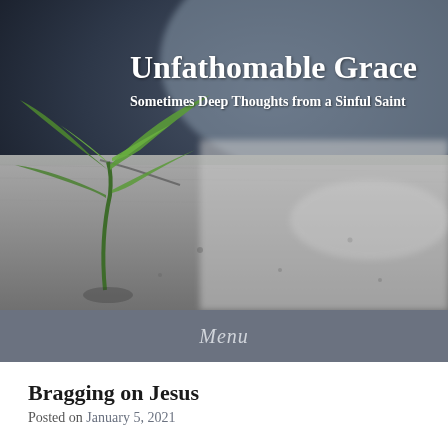[Figure (photo): A green plant seedling growing up through cracked concrete/asphalt ground, with a blurred grey sky and pavement background. The image spans the full width of the page header.]
Unfathomable Grace
Sometimes Deep Thoughts from a Sinful Saint
Menu
Bragging on Jesus
Posted on January 5, 2021
Jesus Christ, a famous evangelist from Heaven, made the